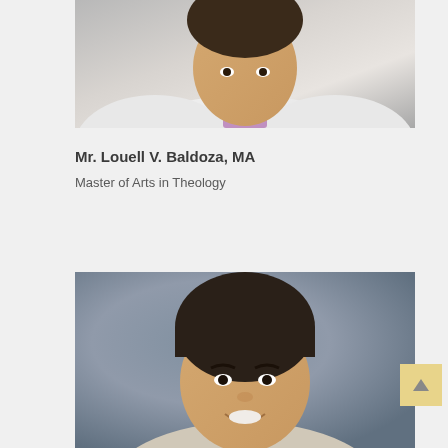[Figure (photo): Portrait photo of Mr. Louell V. Baldoza in white coat with purple shirt and striped tie, cropped to show upper torso and partial face]
Mr. Louell V. Baldoza, MA
Master of Arts in Theology
[Figure (photo): Portrait photo of a smiling Asian man with bowl-cut black hair against a gray-blue background]